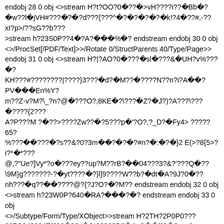endobj 28 0 obj <>stream H?t?OO?0 ??? >vH????i?? Bb ? w??l jVH#??? ? ?d???{???^ ? ? ? ? k!?4 ??#,-??xI?p>/??sG??b???>stream h?23S0P??4 ?A?   % ? endstream endobj 30 0 obj <>/ProcSet[/PDF/Text]>>/Rotate 0/StructParents 40/Type/Page>> endobj 31 0 obj <>stream H?|?AO?0 ??? sl ???& UH?v%??? ?KH???#????????|????}3??? d? M?? ????N??n?i?A  ?PV   En%Y?m??Z-v?M?\_?n?@ ???O?,8KE ?\??? Z? J?)?A???\??? ????{2???A?P???M ? ??>????Zw?? ?5???p '?O?,?_D? Fy4> ????? 65?%???  ??? ?s??&?0?3m  ? ? ?#n? : ? }2 E(>?8{5>?i?* *???@,?"Ue?]Vy*?o ???ey??up?M??rB?  04???3?&?'???Q ??\9M}g???????-? yt???? ?}l]9????W??b? dt A?9J?0 ??nh??? q??  ????@?{?J?O? ?M?? endstream endobj 32 0 obj <>stream h?23W0P?640 RA?   ? ? endstream endobj 33 0 obj <>/Subtype/Form/Type/XObject>>stream H?2TH?2P0P0???337Q04?334T(J?J ??s ?*????9D? &_?  ``? ? endstream endobj 34 0 obj <>/Subtype/Form/Type/XObject>>stream H?2TH?2P0P016??4W???360R(J?J ??s ?*???? D? &_?  ``v ? endstream endobj 35 0 obj <>/Subtype/Form/Type/XObject>>stream H?2TH?2P0P016??4W0???305W(J?J J?s ?*???? T? LA1 @? y? O endstream endobj 36 0 obj <>/Subtype/Form/Type/XObject>>stream H?2TH?2P0P016??4W021?305T(J?J J?s ?*???? T? LA1 @? vL - endstream endobj 37 0 obj <>/Subtype/Form/Type/XObject>>stream H?2TH?2P0P016??4W0?4?325W(J?J J?s ?*???? T? LA1 @? y? O endstream endobj 38 0 obj